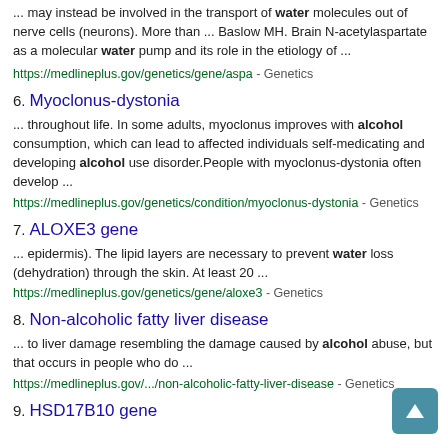... may instead be involved in the transport of water molecules out of nerve cells (neurons). More than ... Baslow MH. Brain N-acetylaspartate as a molecular water pump and its role in the etiology of ...
https://medlineplus.gov/genetics/gene/aspa - Genetics
6. Myoclonus-dystonia
... throughout life. In some adults, myoclonus improves with alcohol consumption, which can lead to affected individuals self-medicating and developing alcohol use disorder.People with myoclonus-dystonia often develop ...
https://medlineplus.gov/genetics/condition/myoclonus-dystonia - Genetics
7. ALOXE3 gene
... epidermis). The lipid layers are necessary to prevent water loss (dehydration) through the skin. At least 20 ...
https://medlineplus.gov/genetics/gene/aloxe3 - Genetics
8. Non-alcoholic fatty liver disease
... to liver damage resembling the damage caused by alcohol abuse, but that occurs in people who do ...
https://medlineplus.gov/.../non-alcoholic-fatty-liver-disease - Genetics
9. HSD17B10 gene